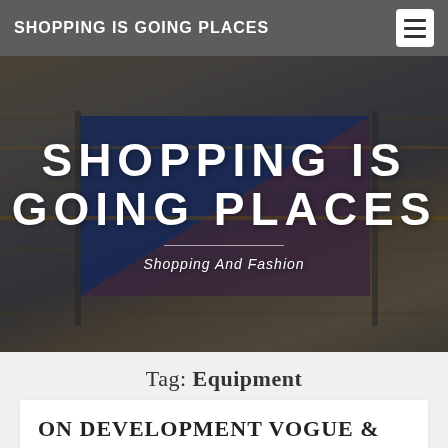SHOPPING IS GOING PLACES
[Figure (photo): Hero banner showing a retail store with shelves of goods including bags, cameras, shoes and accessories. Large white text overlay reads 'SHOPPING IS GOING PLACES' with subtitle 'Shopping And Fashion'.]
Tag: Equipment
ON DEVELOPMENT VOGUE &